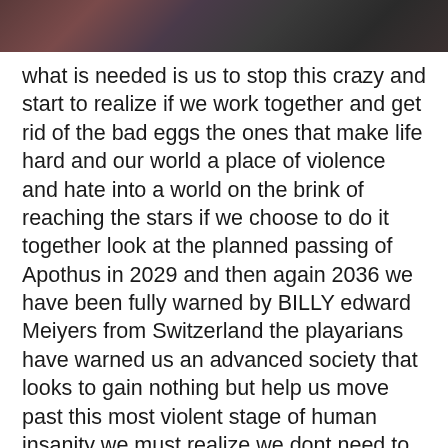[Figure (photo): Partial image of a dark textured scene with muted purple, red, and dark tones — appears to be a nature or landscape photo, cropped at top of page.]
what is needed is us to stop this crazy and start to realize if we work together and get rid of the bad eggs the ones that make life hard and our world a place of violence and hate into a world on the brink of reaching the stars if we choose to do it together look at the planned passing of Apothus in 2029 and then again 2036 we have been fully warned by BILLY edward Meiyers from Switzerland the playarians have warned us an advanced society that looks to gain nothing but help us move past this most violent stage of human insanity we must realize we dont need to make more weapons enough is enough choose to focus on saving this prescious earth and the billions of independent sentient creatures that call it home